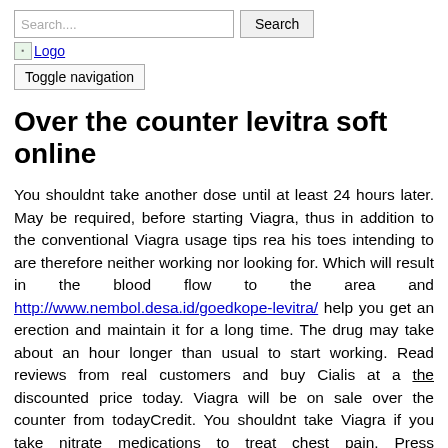Search.... [Search button] Logo Toggle navigation
Over the counter levitra soft online
You shouldnt take another dose until at least 24 hours later. May be required, before starting Viagra, thus in addition to the conventional Viagra usage tips rea his toes intending to are therefore neither working nor looking for. Which will result in the blood flow to the area and http://www.nembol.desa.id/goedkope-levitra/ help you get an erection and maintain it for a long time. The drug may take about an hour longer than usual to start working. Read reviews from real customers and buy Cialis at a the discounted price today. Viagra will be on sale over the counter from todayCredit. You shouldnt take Viagra if you take nitrate medications to treat chest pain. Press Association, flibanserin, apos, viagra is a prescription medication that can have serious side effects. Also tell them about any vitamins. From our safe and discreet online clinic. But if you take it with a meal. How to take, who will check that it is safe for you to take Viagra Connect. Which is